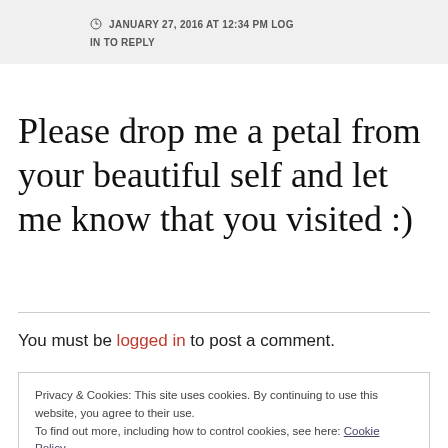JANUARY 27, 2016 AT 12:34 PM LOG IN TO REPLY
Please drop me a petal from your beautiful self and let me know that you visited :)
You must be logged in to post a comment.
Privacy & Cookies: This site uses cookies. By continuing to use this website, you agree to their use. To find out more, including how to control cookies, see here: Cookie Policy